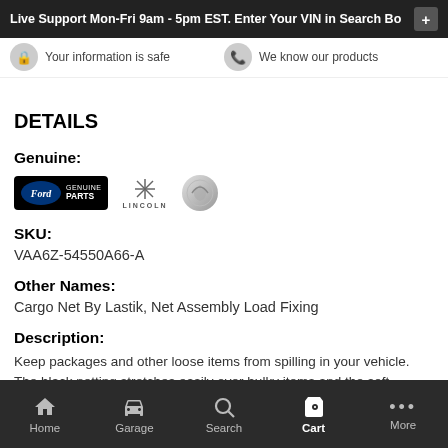Live Support Mon-Fri 9am - 5pm EST. Enter Your VIN in Search Bo
Your information is safe
We know our products
DETAILS
Genuine:
[Figure (logo): Ford Genuine Parts logo, Lincoln logo, Mercury logo]
SKU:
VAA6Z-54550A66-A
Other Names:
Cargo Net By Lastik, Net Assembly Load Fixing
Description:
Keep packages and other loose items from spilling in your vehicle. The black netting stretches easily over bulky items and the soft braided cording wont scratch painted surfaces. Corner hooks attach to existing rings (or install those provided) in vehicles cargo area. Envelope style.
Home  Garage  Search  Cart  More